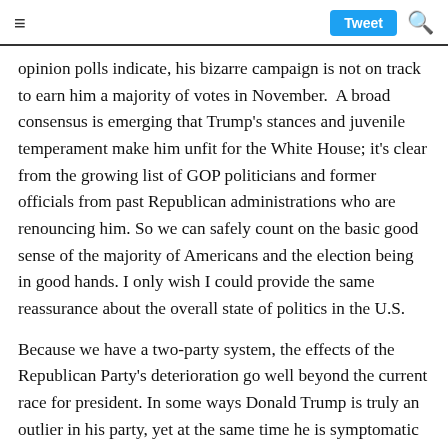≡  Tweet 🔍
opinion polls indicate, his bizarre campaign is not on track to earn him a majority of votes in November. A broad consensus is emerging that Trump's stances and juvenile temperament make him unfit for the White House; it's clear from the growing list of GOP politicians and former officials from past Republican administrations who are renouncing him. So we can safely count on the basic good sense of the majority of Americans and the election being in good hands. I only wish I could provide the same reassurance about the overall state of politics in the U.S.
Because we have a two-party system, the effects of the Republican Party's deterioration go well beyond the current race for president. In some ways Donald Trump is truly an outlier in his party, yet at the same time he is symptomatic of problems that have built up within the GOP over the past couple decades. His penchant for outrageous statements has shown that Trump lives in a bubble all his own. Having